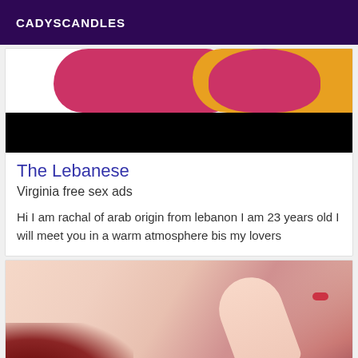CADYSCANDLES
[Figure (photo): Colorful abstract image on top with pink/red and yellow shapes, followed by a black redacted bar below]
The Lebanese
Virginia free sex ads
Hi I am rachal of arab origin from lebanon I am 23 years old I will meet you in a warm atmosphere bis my lovers
[Figure (photo): Close-up photo of a woman's face and neck with red hair and red lips, her hand near her face]